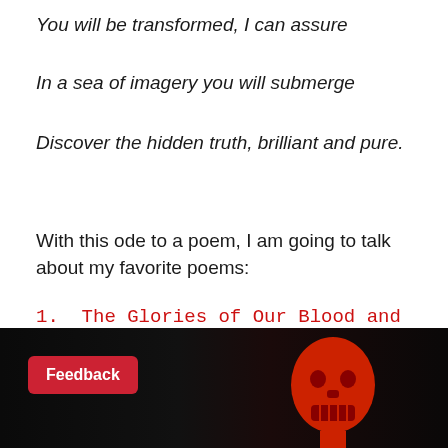You will be transformed, I can assure
In a sea of imagery you will submerge
Discover the hidden truth, brilliant and pure.
With this ode to a poem, I am going to talk about my favorite poems:
1.  The Glories of Our Blood and State- James Shirley
[Figure (photo): Dark background image with a red lego-style skull/head figure in the center, and a red 'Feedback' button on the left side]